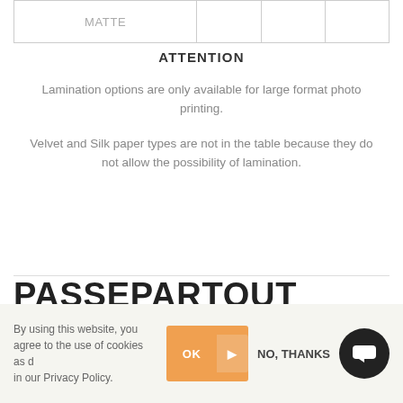| MATTE |  |  |  |
| --- | --- | --- | --- |
ATTENTION
Lamination options are only available for large format photo printing.
Velvet and Silk paper types are not in the table because they do not allow the possibility of lamination.
PASSEPARTOUT OPTION
By using this website, you agree to the use of cookies as described in our Privacy Policy.